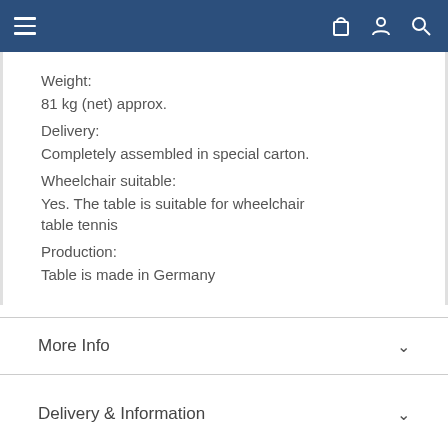Navigation bar with menu, cart, account, and search icons
Weight:
81 kg (net) approx.
Delivery:
Completely assembled in special carton.
Wheelchair suitable:
Yes. The table is suitable for wheelchair table tennis
Production:
Table is made in Germany
More Info
Delivery & Information